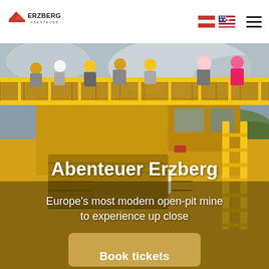Erzberg Abenteuer
[Figure (photo): Large yellow open-pit mining truck with people standing on top behind yellow safety railings, photographed close up against a cloudy sky background. The truck cab shows a license plate area. Yellow metal staircases visible on the right side.]
Abenteuer Erzberg
Europe's most modern open-pit mine to experience up close
Book tickets